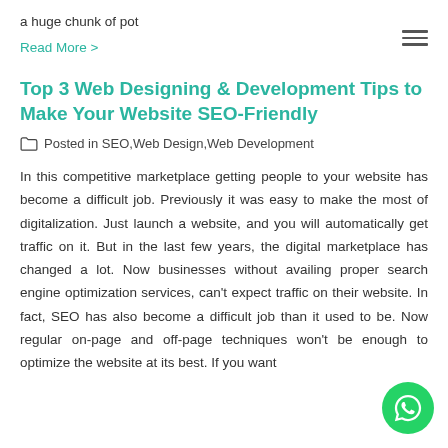a huge chunk of pot
Read More >
Top 3 Web Designing & Development Tips to Make Your Website SEO-Friendly
Posted in SEO,Web Design,Web Development
In this competitive marketplace getting people to your website has become a difficult job. Previously it was easy to make the most of digitalization. Just launch a website, and you will automatically get traffic on it. But in the last few years, the digital marketplace has changed a lot. Now businesses without availing proper search engine optimization services, can't expect traffic on their website. In fact, SEO has also become a difficult job than it used to be. Now regular on-page and off-page techniques won't be enough to optimize the website at its best. If you want